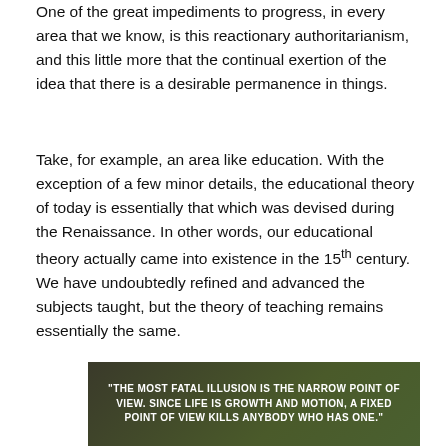One of the great impediments to progress, in every area that we know, is this reactionary authoritarianism, and this little more that the continual exertion of the idea that there is a desirable permanence in things.
Take, for example, an area like education. With the exception of a few minor details, the educational theory of today is essentially that which was devised during the Renaissance. In other words, our educational theory actually came into existence in the 15th century. We have undoubtedly refined and advanced the subjects taught, but the theory of teaching remains essentially the same.
[Figure (infographic): Dark olive/green gradient quote box with white bold uppercase text: "THE MOST FATAL ILLUSION IS THE NARROW POINT OF VIEW. SINCE LIFE IS GROWTH AND MOTION, A FIXED POINT OF VIEW KILLS ANYBODY WHO HAS ONE."]